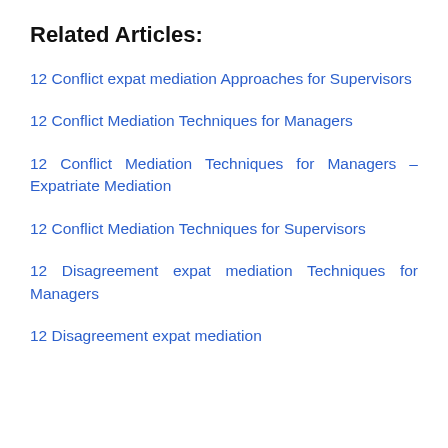Related Articles:
12 Conflict expat mediation Approaches for Supervisors
12 Conflict Mediation Techniques for Managers
12 Conflict Mediation Techniques for Managers – Expatriate Mediation
12 Conflict Mediation Techniques for Supervisors
12 Disagreement expat mediation Techniques for Managers
12 Disagreement expat mediation